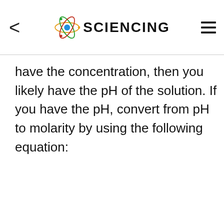SCIENCING
have the concentration, then you likely have the pH of the solution. If you have the pH, convert from pH to molarity by using the following equation: